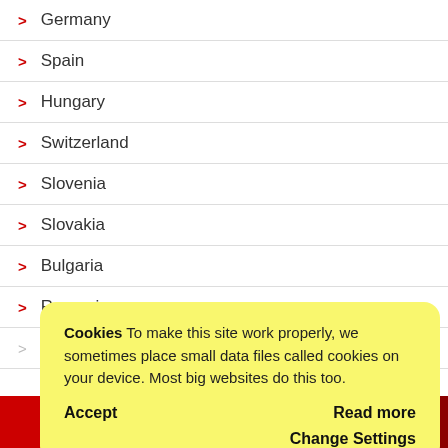> Germany
> Spain
> Hungary
> Switzerland
> Slovenia
> Slovakia
> Bulgaria
> Romania
> Greece
Cookies To make this site work properly, we sometimes place small data files called cookies on your device. Most big websites do this too.
Accept    Read more
Change Settings
→ Price request